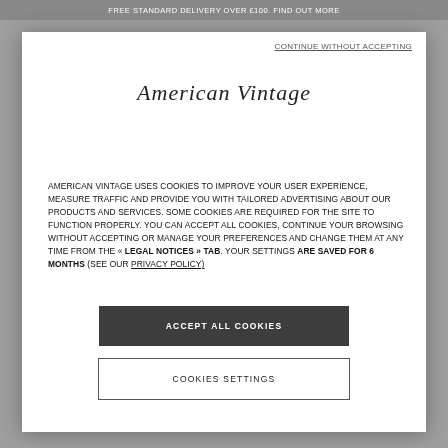FREE STANDARD DELIVERY OVER £100. FIND OUT MORE
CONTINUE WITHOUT ACCEPTING
[Figure (logo): American Vintage cursive script logo]
AMERICAN VINTAGE USES COOKIES TO IMPROVE YOUR USER EXPERIENCE, MEASURE TRAFFIC AND PROVIDE YOU WITH TAILORED ADVERTISING ABOUT OUR PRODUCTS AND SERVICES. SOME COOKIES ARE REQUIRED FOR THE SITE TO FUNCTION PROPERLY. YOU CAN ACCEPT ALL COOKIES, CONTINUE YOUR BROWSING WITHOUT ACCEPTING OR MANAGE YOUR PREFERENCES AND CHANGE THEM AT ANY TIME FROM THE « LEGAL NOTICES » TAB. YOUR SETTINGS ARE SAVED FOR 6 MONTHS (SEE OUR PRIVACY POLICY)
ACCEPT ALL COOKIES
COOKIES SETTINGS